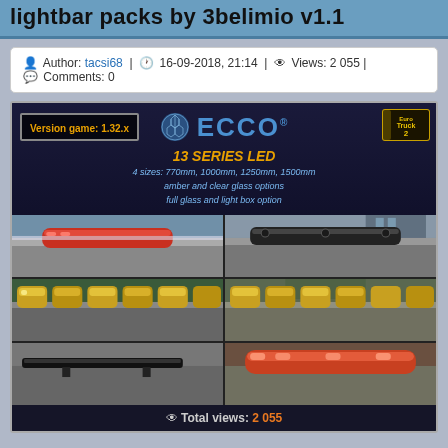lightbar packs by 3belimio v1.1
Author: tacsi68 | 16-09-2018, 21:14 | Views: 2 055 | Comments: 0
[Figure (photo): ECCO 13 Series LED lightbar pack promotional image showing Version game: 1.32.x badge, ECCO logo with hexagonal pattern, ETS2 logo, text '4 sizes: 770mm, 1000mm, 1250mm, 1500mm', 'amber and clear glass options', 'full glass and light box option', 'addon for: Helsa light bars for DAF & Helsa light bars for Mercedes', and a 2x3 grid of in-game screenshots showing truck rooftop lightbars in various configurations. Total views: 2 055 shown at bottom.]